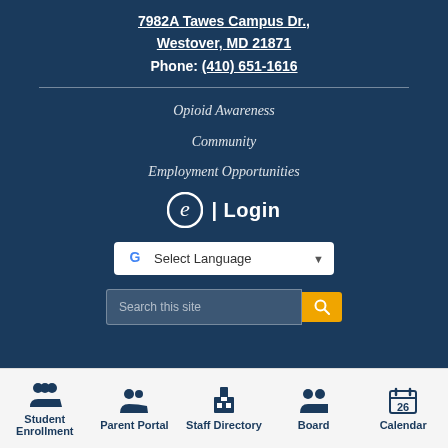7982A Tawes Campus Dr., Westover, MD 21871
Phone: (410) 651-1616
Opioid Awareness
Community
Employment Opportunities
e | Login
Select Language
Search this site
Student Enrollment | Parent Portal | Staff Directory | Board | Calendar